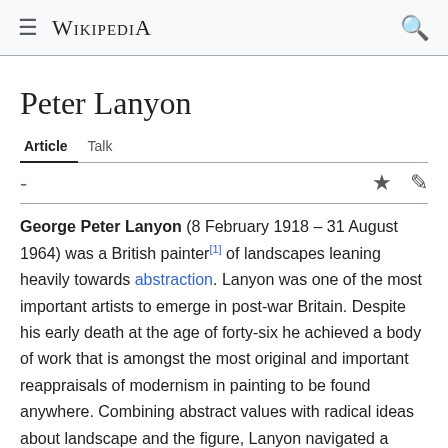Wikipedia
Peter Lanyon
Article  Talk
George Peter Lanyon (8 February 1918 – 31 August 1964) was a British painter[1] of landscapes leaning heavily towards abstraction. Lanyon was one of the most important artists to emerge in post-war Britain. Despite his early death at the age of forty-six he achieved a body of work that is amongst the most original and important reappraisals of modernism in painting to be found anywhere. Combining abstract values with radical ideas about landscape and the figure, Lanyon navigated a